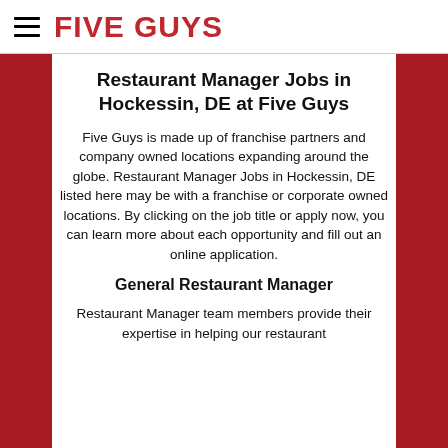FIVE GUYS
Restaurant Manager Jobs in Hockessin, DE at Five Guys
Five Guys is made up of franchise partners and company owned locations expanding around the globe. Restaurant Manager Jobs in Hockessin, DE listed here may be with a franchise or corporate owned locations. By clicking on the job title or apply now, you can learn more about each opportunity and fill out an online application.
General Restaurant Manager
Restaurant Manager team members provide their expertise in helping our restaurant